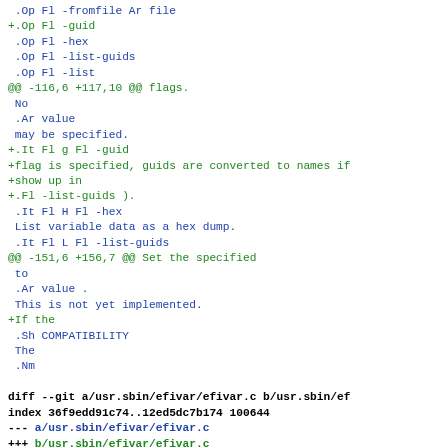.Op Fl -fromfile Ar file
+.Op Fl -guid
 .Op Fl -hex
 .Op Fl -list-guids
 .Op Fl -list
@@ -116,6 +117,10 @@ flags.
 No
 .Ar value
 may be specified.
+.It Fl g Fl -guid
+flag is specified, guids are converted to names if
+show up in
+.Fl -list-guids ).
 .It Fl H Fl -hex
 List variable data as a hex dump.
 .It Fl L Fl -list-guids
@@ -151,6 +156,7 @@ Set the specified
 to
 .Ar value .
 This is not yet implemented.
+If the
 .Sh COMPATIBILITY
 The
 .Nm

diff --git a/usr.sbin/efivar/efivar.c b/usr.sbin/ef
index 36f9edd91c74..12ed5dc7b174 100644
--- a/usr.sbin/efivar/efivar.c
+++ b/usr.sbin/efivar/efivar.c
@@ -46,6 +46,7 @@ static struct option longopts[] =